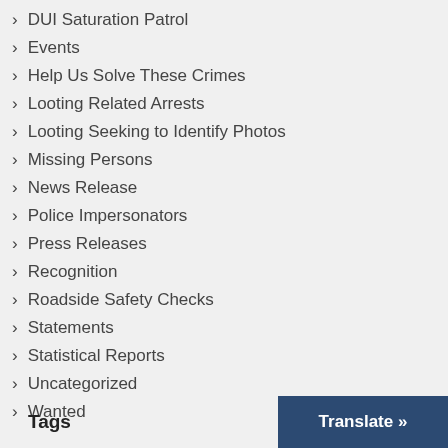DUI Saturation Patrol
Events
Help Us Solve These Crimes
Looting Related Arrests
Looting Seeking to Identify Photos
Missing Persons
News Release
Police Impersonators
Press Releases
Recognition
Roadside Safety Checks
Statements
Statistical Reports
Uncategorized
Wanted
Tags
Translate »